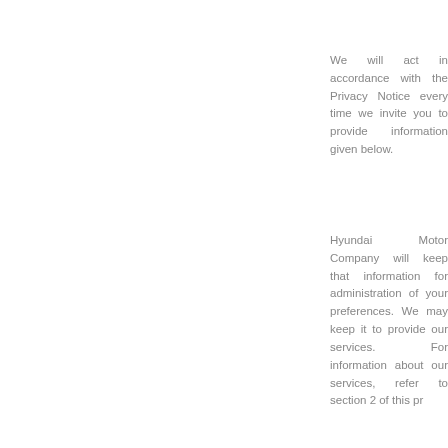We will act in accordance with the Privacy Notice every time we invite you to provide the information given below.
Hyundai Motor Company will keep that information for administration of your preferences. We may keep it to provide our services. For information about our services, refer to section 2 of this pr
If you have submitted a request to a dealer and they may conta
When you give us information about others who act for them, to consent to the uses described in this notice and to receiv
You have the right to ask to see your data, to correct any inaccuracies
We may record telephone